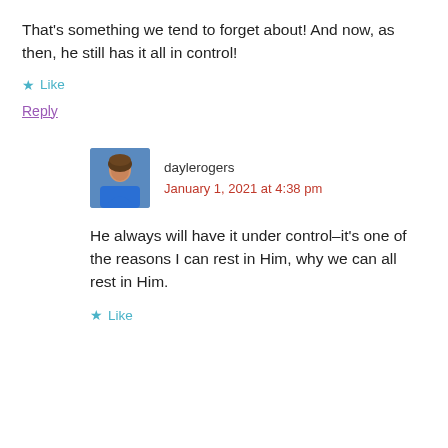That's something we tend to forget about! And now, as then, he still has it all in control!
★ Like
Reply
daylerogers
January 1, 2021 at 4:38 pm
He always will have it under control–it's one of the reasons I can rest in Him, why we can all rest in Him.
★ Like